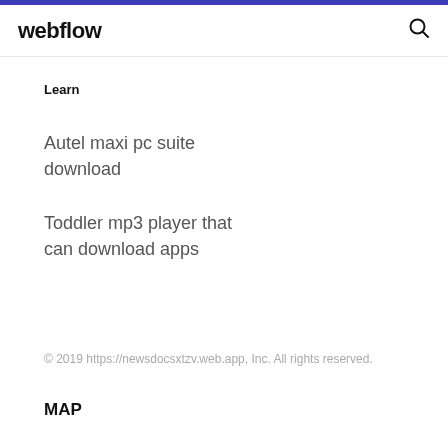webflow
Learn
Autel maxi pc suite download
Toddler mp3 player that can download apps
© 2019 https://newsdocsxtzv.web.app, Inc. All rights reserved.
MAP